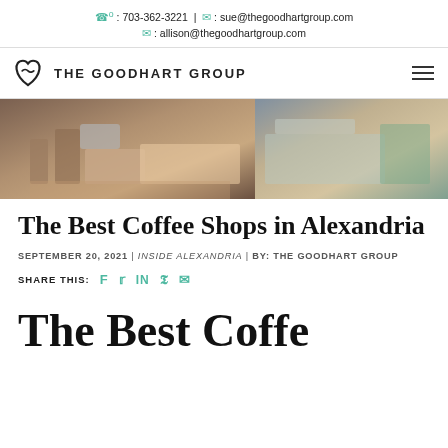703-362-3221 | sue@thegoodhartgroup.com | allison@thegoodhartgroup.com
[Figure (logo): The Goodhart Group logo with heart icon and navigation hamburger menu]
[Figure (photo): Interior photo of a coffee shop showing counter, equipment, and seating area]
The Best Coffee Shops in Alexandria
SEPTEMBER 20, 2021 | INSIDE ALEXANDRIA | BY: THE GOODHART GROUP
SHARE THIS: (social icons: Facebook, Twitter, LinkedIn, Pinterest, Email)
The Best Coffee